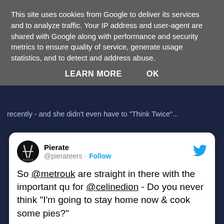This site uses cookies from Google to deliver its services and to analyze traffic. Your IP address and user-agent are shared with Google along with performance and security metrics to ensure quality of service, generate usage statistics, and to detect and address abuse.
LEARN MORE   OK
recently - and she didn't even have to "Think Twice"...
[Figure (screenshot): Embedded tweet from @pierateers (Pierate) saying: So @metrouk are straight in there with the important qu for @celinedion - Do you never think "I'm going to stay home now & cook some pies?" Posted at 11:06 AM · Nov 8, 2013]